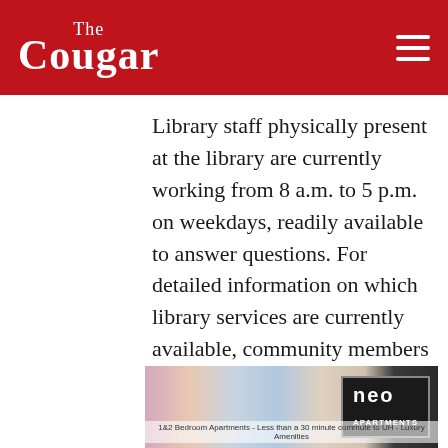The Cougar
Library staff physically present at the library are currently working from 8 a.m. to 5 p.m. on weekdays, readily available to answer questions. For detailed information on which library services are currently available, community members can visit the library website.
[Figure (photo): Advertisement banner for NEO apartments: 1&2 bedroom apartments - Less than a 30 minute commute to UH - Luxury Amenities]